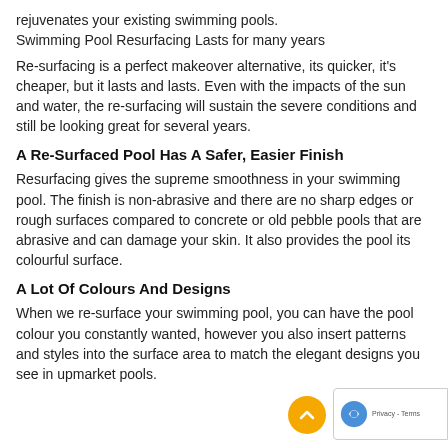rejuvenates your existing swimming pools.
Swimming Pool Resurfacing Lasts for many years
Re-surfacing is a perfect makeover alternative, its quicker, it's cheaper, but it lasts and lasts. Even with the impacts of the sun and water, the re-surfacing will sustain the severe conditions and still be looking great for several years.
A Re-Surfaced Pool Has A Safer, Easier Finish
Resurfacing gives the supreme smoothness in your swimming pool. The finish is non-abrasive and there are no sharp edges or rough surfaces compared to concrete or old pebble pools that are abrasive and can damage your skin. It also provides the pool its colourful surface.
A Lot Of Colours And Designs
When we re-surface your swimming pool, you can have the pool colour you constantly wanted, however you also insert patterns and styles into the surface area to match the elegant designs you see in upmarket pools.